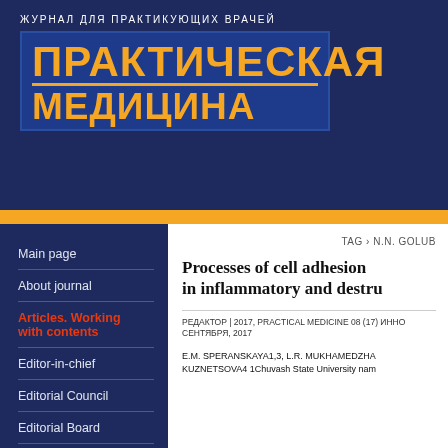ЖУРНАЛ ДЛЯ ПРАКТИКУЮЩИХ ВРАЧЕЙ
ПРАКТИЧЕСКАЯ МЕДИЦИНА
Main page
About journal
Articles. Working with contents
Editor-in-chief
Editorial Council
Editorial Board
TAG › N.N. GOLUB
Processes of cell adhesion in inflammatory and destru
РЕДАКТОР | 2017, PRACTICAL MEDICINE 08 (17) ИННО СЕНТЯБРЯ, 2017
E.M. SPERANSKAYA1,3, L.R. MUKHAMEDZHAKUZNETSOVA4 1Chuvash State University nam